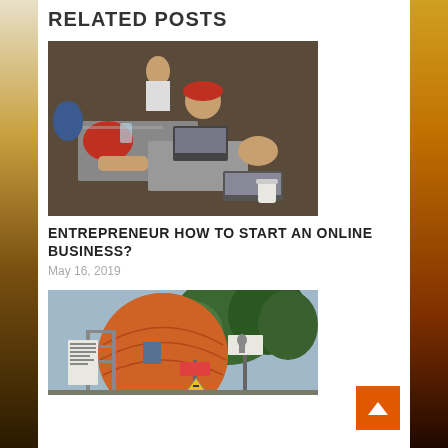RELATED POSTS
[Figure (photo): People working on laptops in a cafe setting, overhead/angled view, man with red cap visible]
ENTREPRENEUR HOW TO START AN ONLINE BUSINESS?
May 16, 2019
[Figure (photo): Round orange-brown spherical building under construction with scaffolding, trees in background, street signs visible]